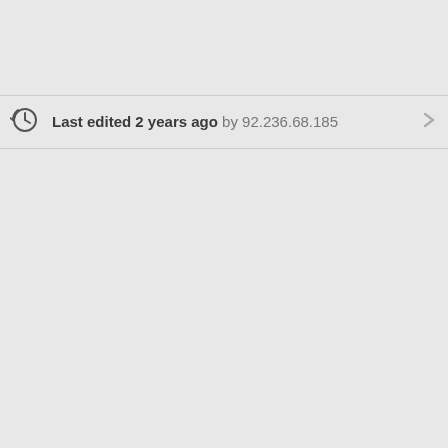Last edited 2 years ago by 92.236.68.185